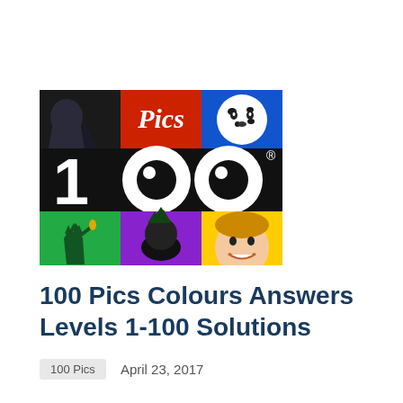[Figure (logo): 100 Pics game app logo showing a colorful grid with pop-art style images and '100' text in large white letters on a black background]
100 Pics Colours Answers Levels 1-100 Solutions
100 Pics    April 23, 2017
100 Pics Colours Answers, Cheats and Solutions to all 100 levels. 100 Pics is one of the top and widely known puzzle